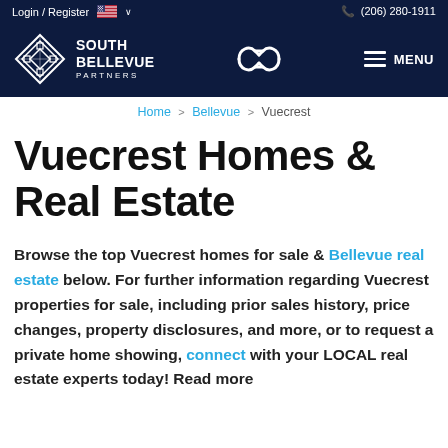Login / Register   🇺🇸 ∨   (206) 280-1911
[Figure (logo): South Bellevue Partners logo with diamond lattice icon and center chain-link logo on dark navy navigation bar with MENU hamburger button]
Home > Bellevue > Vuecrest
Vuecrest Homes & Real Estate
Browse the top Vuecrest homes for sale & Bellevue real estate below. For further information regarding Vuecrest properties for sale, including prior sales history, price changes, property disclosures, and more, or to request a private home showing, connect with your LOCAL real estate experts today! Read more